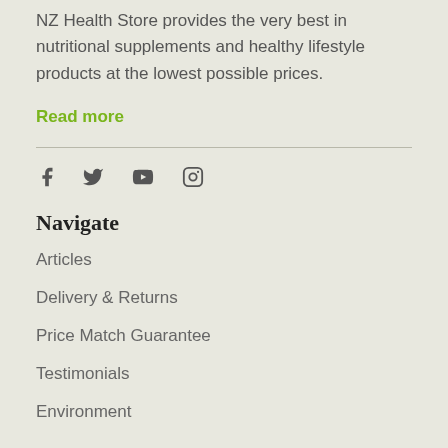NZ Health Store provides the very best in nutritional supplements and healthy lifestyle products at the lowest possible prices.
Read more
[Figure (other): Social media icons: Facebook, Twitter, YouTube, Instagram]
Navigate
Articles
Delivery & Returns
Price Match Guarantee
Testimonials
Environment